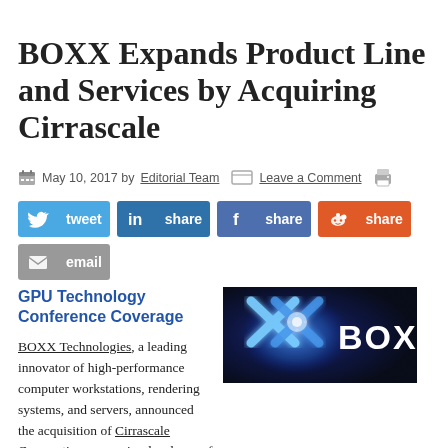BOXX Expands Product Line and Services by Acquiring Cirrascale
May 10, 2017 by Editorial Team  Leave a Comment
[Figure (infographic): Social sharing buttons: tweet (Twitter, blue), share (LinkedIn, dark blue), share (Facebook, medium blue), share (Reddit, orange), email (grey)]
GPU Technology Conference Coverage
[Figure (logo): BOXX Technologies logo: metallic X shapes with blue light glow on dark background, BOXX text in white on right side]
BOXX Technologies, a leading innovator of high-performance computer workstations, rendering systems, and servers, announced the acquisition of Cirrascale Corporation, a premier developer of multi-GPU servers and cloud solutions designed for deep learning infrastructure. The acquisition enables BOXX to add Cirrascale's deep learning hardware to its line of multi-GPU solutions and solidifies BOXX as the leader in multi-GPU compute technology. Simon & Cloud Services BOXX solidi...